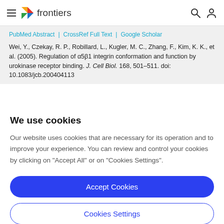frontiers
PubMed Abstract | CrossRef Full Text | Google Scholar
Wei, Y., Czekay, R. P., Robillard, L., Kugler, M. C., Zhang, F., Kim, K. K., et al. (2005). Regulation of α5β1 integrin conformation and function by urokinase receptor binding. J. Cell Biol. 168, 501–511. doi: 10.1083/jcb.200404113
We use cookies
Our website uses cookies that are necessary for its operation and to improve your experience. You can review and control your cookies by clicking on "Accept All" or on "Cookies Settings".
Accept Cookies
Cookies Settings